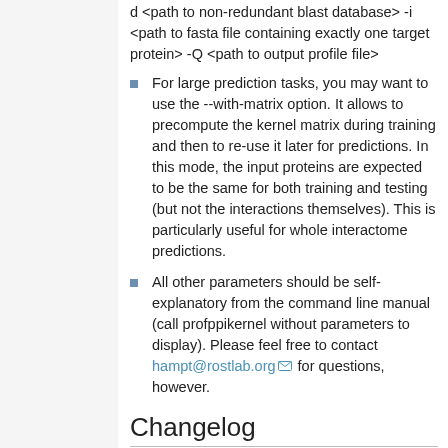d <path to non-redundant blast database> -i <path to fasta file containing exactly one target protein> -Q <path to output profile file>
For large prediction tasks, you may want to use the --with-matrix option. It allows to precompute the kernel matrix during training and then to re-use it later for predictions. In this mode, the input proteins are expected to be the same for both training and testing (but not the interactions themselves). This is particularly useful for whole interactome predictions.
All other parameters should be self-explanatory from the command line manual (call profppikernel without parameters to display). Please feel free to contact hampt@rostlab.org for questions, however.
Changelog
1.0.4
New feature: precomputed kernel matrix (see Usage).